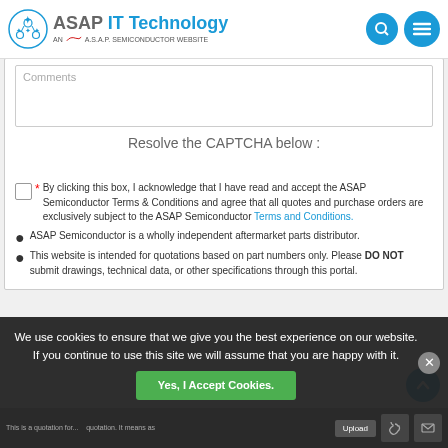[Figure (logo): ASAP IT Technology logo with ASAP Semiconductor website tagline, search and menu icons]
Comments
Resolve the CAPTCHA below :
* By clicking this box, I acknowledge that I have read and accept the ASAP Semiconductor Terms & Conditions and agree that all quotes and purchase orders are exclusively subject to the ASAP Semiconductor Terms and Conditions.
ASAP Semiconductor is a wholly independent aftermarket parts distributor.
This website is intended for quotations based on part numbers only. Please DO NOT submit drawings, technical data, or other specifications through this portal.
We use cookies to ensure that we give you the best experience on our website. If you continue to use this site we will assume that you are happy with it.
Yes, I Accept Cookies.
This is a quotation for... Upload